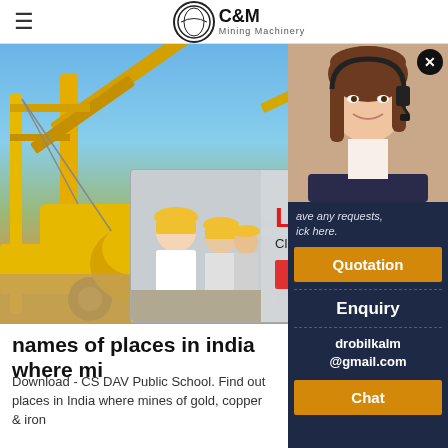C&M Mining Machinery
[Figure (photo): Mining machinery and equipment at a construction/mining site with yellow heavy equipment against a blue sky. Overlay shows a live chat popup with workers in hard hats, and a 'C&M Mach' text watermark at bottom.]
[Figure (photo): Right sidebar with a female customer service agent wearing a headset, smiling. Below is a dark navy sidebar with Quotation, Enquiry, email and Chat buttons.]
names of places in india where mi
Download - CS DAV Public School. Find out places in India where mines of gold, copper & iron